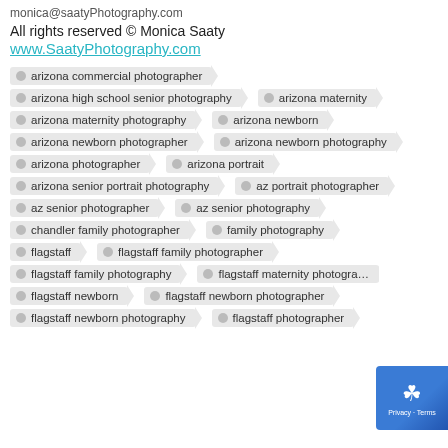monica@saatyPhotography.com
All rights reserved © Monica Saaty
www.SaatyPhotography.com
arizona commercial photographer
arizona high school senior photography
arizona maternity
arizona maternity photography
arizona newborn
arizona newborn photographer
arizona newborn photography
arizona photographer
arizona portrait
arizona senior portrait photography
az portrait photographer
az senior photographer
az senior photography
chandler family photographer
family photography
flagstaff
flagstaff family photographer
flagstaff family photography
flagstaff maternity photography
flagstaff newborn
flagstaff newborn photographer
flagstaff newborn photography
flagstaff photographer